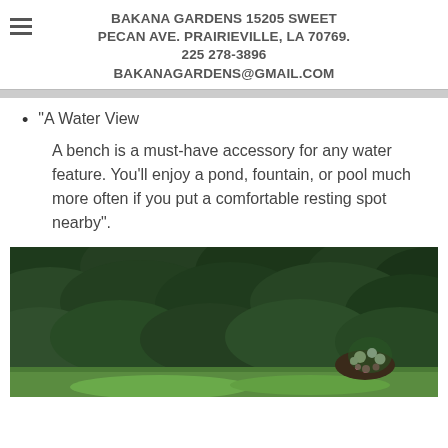BAKANA GARDENS 15205 SWEET PECAN AVE. PRAIRIEVILLE, LA 70769. 225 278-3896 BAKANAGARDENS@GMAIL.COM
"A Water View
A bench is a must-have accessory for any water feature. You'll enjoy a pond, fountain, or pool much more often if you put a comfortable resting spot nearby".
[Figure (photo): Garden photo showing dense dark green shrubbery and trees with a flower bed visible at bottom right on a green lawn]